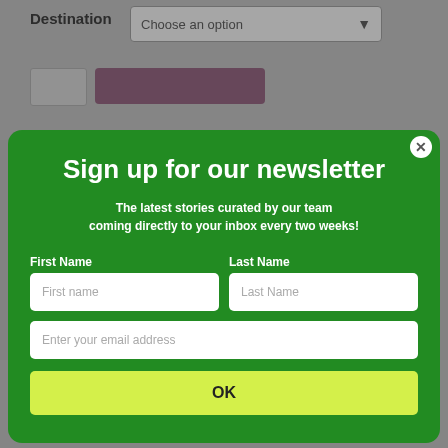[Figure (screenshot): Background e-commerce page showing a destination dropdown selector and an Add to cart button, partially visible behind a modal overlay]
Sign up for our newsletter
The latest stories curated by our team coming directly to your inbox every two weeks!
First Name
Last Name
First name (input placeholder)
Last Name (input placeholder)
Enter your email address (input placeholder)
OK